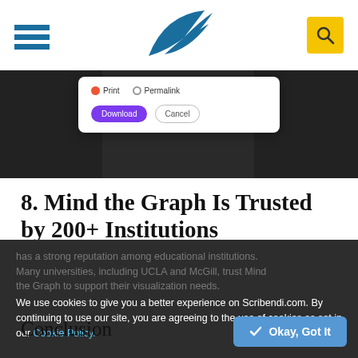Mind the Graph navigation header with hamburger menu, logo, and search button
[Figure (screenshot): Screenshot of a dark-background web application showing a download dialog with radio buttons (Print/Permalink), a purple Download button, and a Cancel button.]
8. Mind the Graph Is Trusted by 200+ Institutions
With its strong understanding of researchers' and students' needs and its state-of-the-art interface, Mind the Graph has a strong reputation among educational institutions. Many universities, including UC LA and McGill, trust Mind the Graph to support their visualization needs.
Conclusion
We use cookies to give you a better experience on Scribendi.com. By continuing to use our site, you are agreeing to the use of cookies as set in our Cookie Policy.